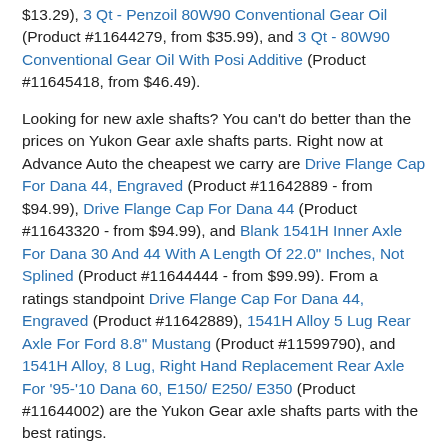$13.29), 3 Qt - Penzoil 80W90 Conventional Gear Oil (Product #11644279, from $35.99), and 3 Qt - 80W90 Conventional Gear Oil With Posi Additive (Product #11645418, from $46.49).
Looking for new axle shafts? You can't do better than the prices on Yukon Gear axle shafts parts. Right now at Advance Auto the cheapest we carry are Drive Flange Cap For Dana 44, Engraved (Product #11642889 - from $94.99), Drive Flange Cap For Dana 44 (Product #11643320 - from $94.99), and Blank 1541H Inner Axle For Dana 30 And 44 With A Length Of 22.0" Inches, Not Splined (Product #11644444 - from $99.99). From a ratings standpoint Drive Flange Cap For Dana 44, Engraved (Product #11642889), 1541H Alloy 5 Lug Rear Axle For Ford 8.8" Mustang (Product #11599790), and 1541H Alloy, 8 Lug, Right Hand Replacement Rear Axle For '95-'10 Dana 60, E150/ E250/ E350 (Product #11644002) are the Yukon Gear axle shafts parts with the best ratings.
Advance Auto Parts has unbeatable prices on Yukon Gear replacement parts starting as low as $0.99. Compare prices to find the right Yukon Gear parts for your year, make, and model vehicle. Have it shipped directly to you, or pick it up in one of our